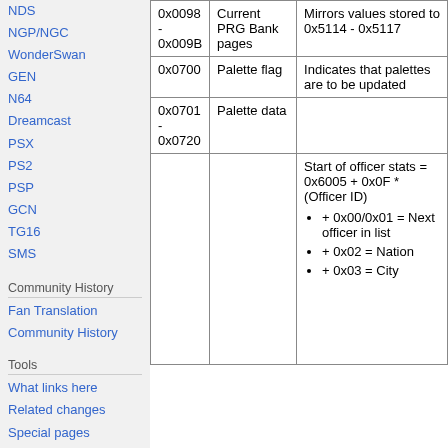NDS
NGP/NGC
WonderSwan
GEN
N64
Dreamcast
PSX
PS2
PSP
GCN
TG16
SMS
Community History
Fan Translation Community History
Tools
What links here
Related changes
Special pages
Printable version
Permanent link
Page information
| Address | Name | Notes |
| --- | --- | --- |
| 0x0098 - 0x009B | Current PRG Bank pages | Mirrors values stored to 0x5114 - 0x5117 |
| 0x0700 | Palette flag | Indicates that palettes are to be updated |
| 0x0701 - 0x0720 | Palette data |  |
|  |  | Start of officer stats = 0x6005 + 0x0F * (Officer ID)
• + 0x00/0x01 = Next officer in list
• + 0x02 = Nation
• + 0x03 = City |